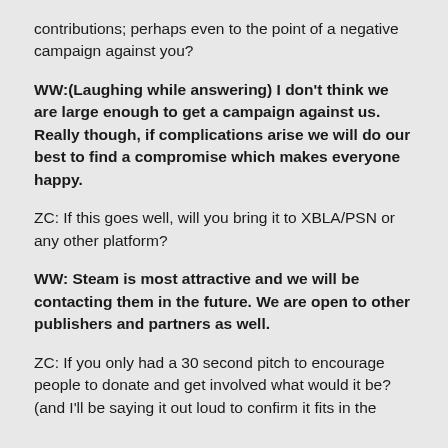contributions; perhaps even to the point of a negative campaign against you?
WW:(Laughing while answering) I don't think we are large enough to get a campaign against us. Really though, if complications arise we will do our best to find a compromise which makes everyone happy.
ZC: If this goes well, will you bring it to XBLA/PSN or any other platform?
WW: Steam is most attractive and we will be contacting them in the future. We are open to other publishers and partners as well.
ZC: If you only had a 30 second pitch to encourage people to donate and get involved what would it be? (and I'll be saying it out loud to confirm it fits in the